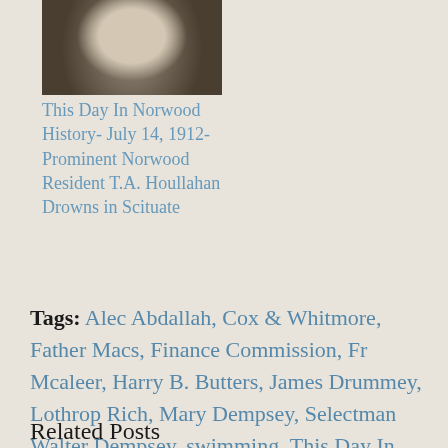[Figure (photo): Black and white portrait photograph of T.A. Houllahan, a man with a mustache wearing a suit and tie]
This Day In Norwood History- July 14, 1912- Prominent Norwood Resident T.A. Houllahan Drowns in Scituate
Tags: Alec Abdallah, Cox & Whitmore, Father Macs, Finance Commission, Fr Mcaleer, Harry B. Butters, James Drummey, Lothrop Rich, Mary Dempsey, Selectman Walter Dempsey, swimming, This Day In Norwood History
Related Posts